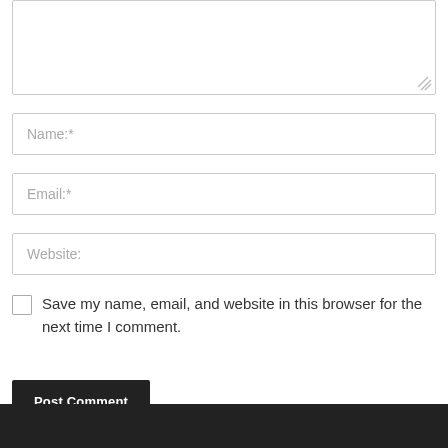[Figure (screenshot): A textarea input box with a resize handle at the bottom-right corner, partially visible at the top of the page.]
Name:*
Email:*
Website:
Save my name, email, and website in this browser for the next time I comment.
Post Comment